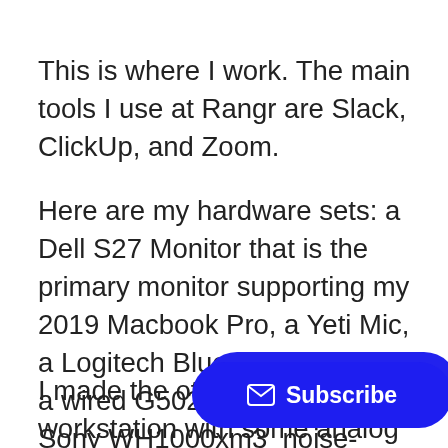This is where I work. The main tools I use at Rangr are Slack, ClickUp, and Zoom.
Here are my hardware sets: a Dell S27 Monitor that is the primary monitor supporting my 2019 Macbook Pro, a Yeti Mic, a Logitech Bluetooth keyboard, a wired G502 mouse, and a Sony WH1000xm3  noise-canceling headphones.
I made the other part of my workstation with some analog pieces. The pieces include a single bullet journal made from a Baron Fig Notebook. The notebook usually has instru[ctions for the book] I'm reading that week, and how m[uch practice I] put into my Gibson Les Paul guitar attached to